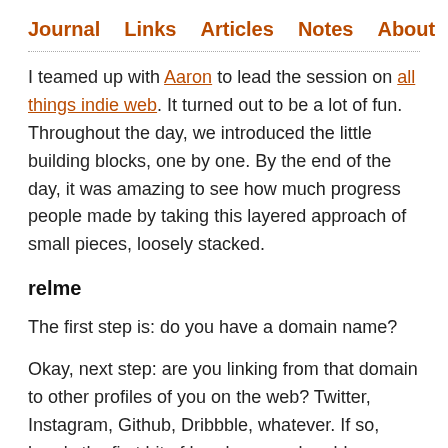Journal  Links  Articles  Notes  About
I teamed up with Aaron to lead the session on all things indie web. It turned out to be a lot of fun. Throughout the day, we introduced the little building blocks, one by one. By the end of the day, it was amazing to see how much progress people made by taking this layered approach of small pieces, loosely stacked.
relme
The first step is: do you have a domain name?
Okay, next step: are you linking from that domain to other profiles of you on the web? Twitter, Instagram, Github, Dribbble, whatever. If so, here's the first bit of hands-on work: add rel="me" to those links.
<a rel="me"